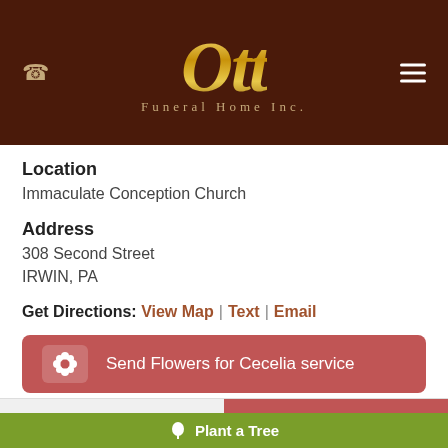[Figure (logo): Ott Funeral Home Inc. logo in gold script on dark brown background header]
Location
Immaculate Conception Church
Address
308 Second Street
IRWIN, PA
Get Directions: View Map | Text | Email
Officiant
Father John Moineau
Send Flowers for Cecelia service
Share a memory
Send Flowers
Plant a Tree